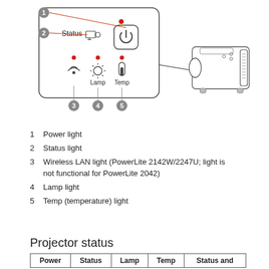[Figure (engineering-diagram): Diagram of a projector with a callout panel showing indicator lights labeled 1-5: Power light (circle with power icon), Status light, Wireless LAN light (wifi icon), Lamp light (sun icon), Temp light (thermometer icon). Red dots indicate the light positions. Gray numbered circles (1-5) point to each element.]
1   Power light
2   Status light
3   Wireless LAN light (PowerLite 2142W/2247U; light is not functional for PowerLite 2042)
4   Lamp light
5   Temp (temperature) light
Projector status
| Power | Status | Lamp | Temp | Status and |
| --- | --- | --- | --- | --- |